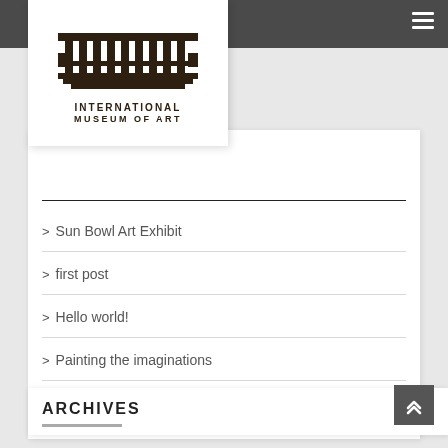[Figure (logo): International Museum of Art logo with classical columns building icon and text INTERNATIONAL MUSEUM OF ART]
> Sun Bowl Art Exhibit
> first post
> Hello world!
> Painting the imaginations
> Potter working a piece of clay
ARCHIVES